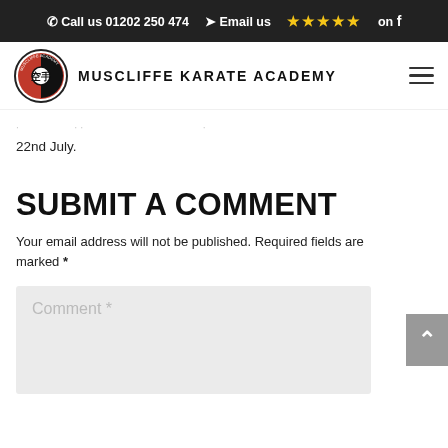Call us 01202 250 474  Email us  ★★★★★ on f
[Figure (logo): Muscliffe Karate Academy circular logo with Japanese karate character]
MUSCLIFFE KARATE ACADEMY
22nd July.
SUBMIT A COMMENT
Your email address will not be published. Required fields are marked *
Comment *